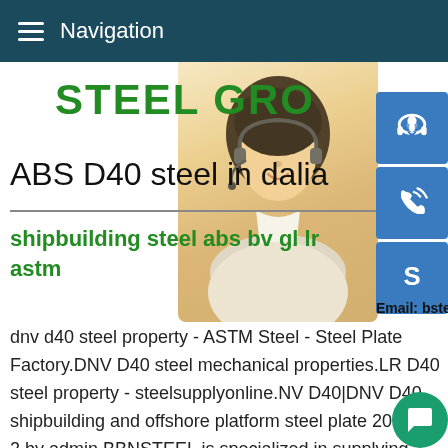Navigation
STEEL GR[OUP]
ABS D40 steel in dalia
shipbuilding steel abs bv gl lr astm
[Figure (photo): Customer service representative woman with headset, smiling]
MANUAL SE[RVICE] QUOTING O[NLINE]
Email: bsteel1@163.com
dnv d40 steel property - ASTM Steel - Steel Plate Factory.DNV D40 steel mechanical properties.LR D40 steel property - steelsupplyonline.NV D40|DNV D40 shipbuilding and offshore platform steel plate 2013 8 2 by admin.BBNSTEEL is specialized in supplying high strength steel plate in Grade D40 approved by DNV,ABS,RINA,LR,GL,BV,CCS,NKoffshore steeloffshore stee